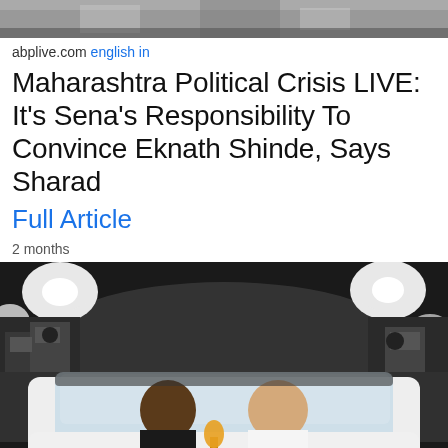[Figure (photo): Partial top image strip showing a dark background, appears to be a cropped photo at the top of the page]
abplive.com english in
Maharashtra Political Crisis LIVE: It's Sena's Responsibility To Convince Eknath Shinde, Says Sharad
Full Article
2 months
[Figure (photo): Nighttime photo showing two men sitting inside a white car, surrounded by media photographers with cameras and bright lights on both sides]
news18.com english in